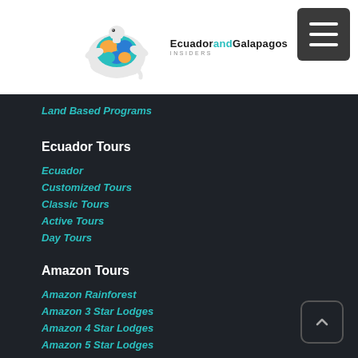[Figure (logo): Ecuador and Galapagos Insiders logo with turtle graphic and text]
Land Based Programs
Ecuador Tours
Ecuador
Customized Tours
Classic Tours
Active Tours
Day Tours
Amazon Tours
Amazon Rainforest
Amazon 3 Star Lodges
Amazon 4 Star Lodges
Amazon 5 Star Lodges
Rainforest Cruises